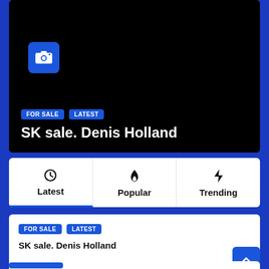[Figure (screenshot): Hero card with black background, camera icon in blue box, FOR SALE and LATEST tags, title SK sale. Denis Holland]
SK sale. Denis Holland
[Figure (infographic): Navigation tabs: Latest (clock icon), Popular (flame icon), Trending (lightning icon)]
FOR SALE  LATEST
SK sale. Denis Holland